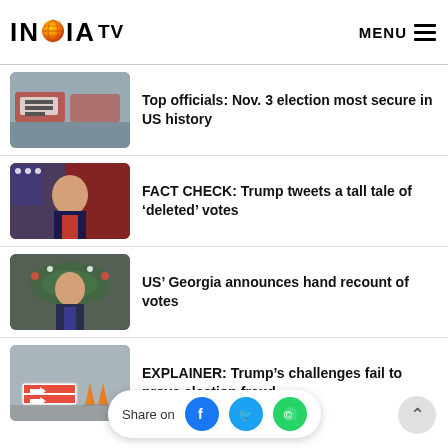INDIA TV | MENU
[Figure (photo): Photo of ballot boxes/election materials]
Top officials: Nov. 3 election most secure in US history
[Figure (photo): Photo of Donald Trump at podium with flags]
FACT CHECK: Trump tweets a tall tale of ‘deleted’ votes
[Figure (photo): Photo of Donald Trump outdoors with wreath]
US’ Georgia announces hand recount of votes
[Figure (photo): Photo of signs outside building with traffic cones]
EXPLAINER: Trump’s challenges fail to prove election fraud
Share on